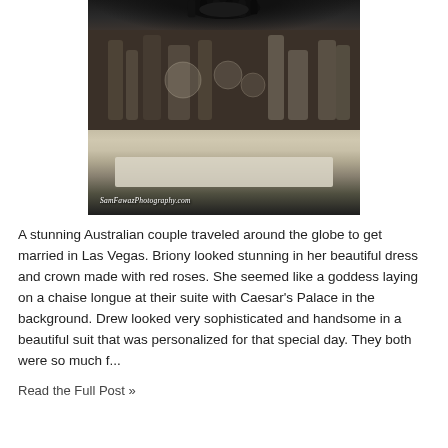[Figure (photo): A dark, blurred interior photo showing what appears to be bar or restaurant equipment, glassware, and a decorative ceiling fixture. Watermark reads 'SamFawazPhotography.com' in italic white text at the bottom left.]
A stunning Australian couple traveled around the globe to get married in Las Vegas. Briony looked stunning in her beautiful dress and crown made with red roses. She seemed like a goddess laying on a chaise longue at their suite with Caesar's Palace in the background. Drew looked very sophisticated and handsome in a beautiful suit that was personalized for that special day. They both were so much f...
Read the Full Post »